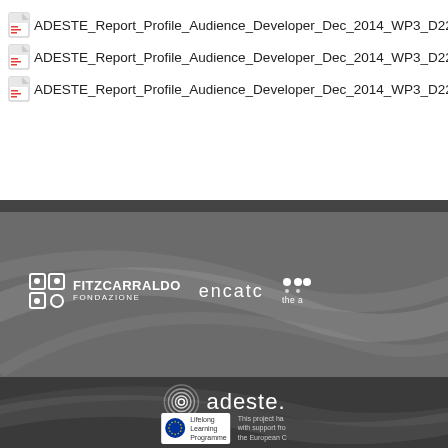ADESTE_Report_Profile_Audience_Developer_Dec_2014_WP3_D22
ADESTE_Report_Profile_Audience_Developer_Dec_2014_WP3_D22
ADESTE_Report_Profile_Audience_Developer_Dec_2014_WP3_D22
[Figure (logo): Partner logos banner: Fitzcarraldo Fondazione, encatc, and another partner logo on grey background with decorative curves]
[Figure (logo): Adeste project logo with spiral icon and text 'adeste.' on dark background, with Lifelong Learning Programme badge and EU project funding text]